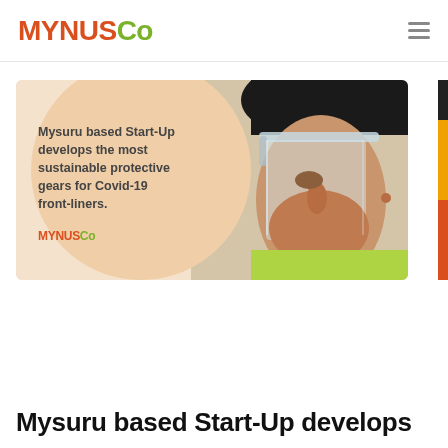MYNUS Co
[Figure (photo): Banner card with peach/cream background and circular overlay showing a person wearing a face shield/protective gear, with text overlay on the left side. Small MYNUSCo logo at bottom left of card.]
Mysuru based Start-Up develops the most sustainable protective gears for Covid-19 front-liners.
Mysuru based Start-Up develops